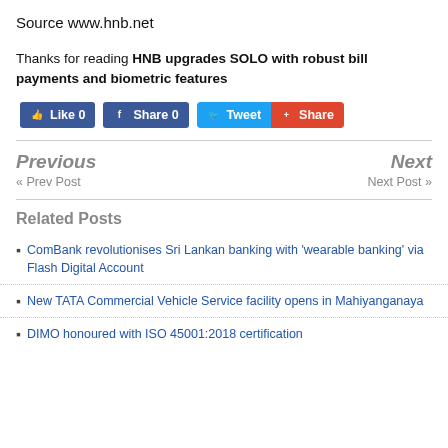Source www.hnb.net
Thanks for reading HNB upgrades SOLO with robust bill payments and biometric features
[Figure (other): Social sharing buttons: Like 0 (Facebook), Share 0 (Facebook), Tweet (Twitter), Share (red button)]
Previous « Prev Post
Next Next Post »
Related Posts
ComBank revolutionises Sri Lankan banking with 'wearable banking' via Flash Digital Account
New TATA Commercial Vehicle Service facility opens in Mahiyanganaya
DIMO honoured with ISO 45001:2018 certification